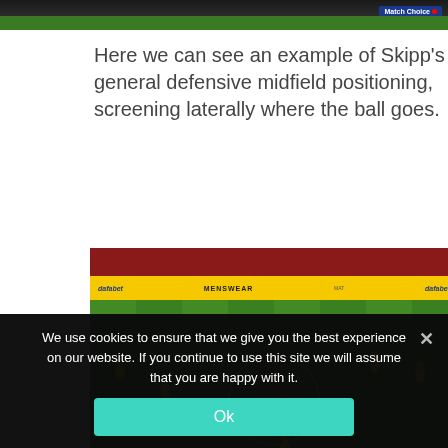[Figure (screenshot): Top portion of a football/soccer match screenshot with a dark background strip and a Match Choice badge in the top right corner.]
Here we can see an example of Skipp's general defensive midfield positioning, screening laterally where the ball goes.
[Figure (screenshot): Football match screenshot showing a top-down view of a soccer pitch. Players in yellow/green kits are visible. A player circled in red/orange near the center circle is highlighted. Stadium advertising boards show 'dafabet' and 'MENSWEAR'. The pitch shows a center circle clearly.]
We use cookies to ensure that we give you the best experience on our website. If you continue to use this site we will assume that you are happy with it.